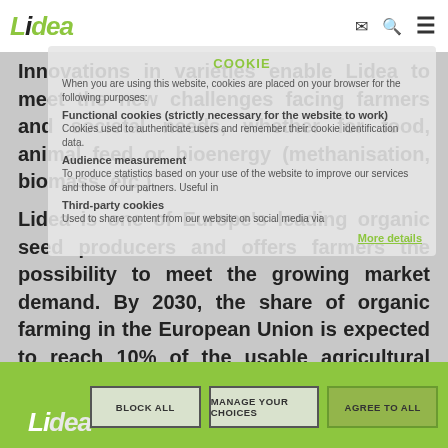Lidea [logo] | COOKIE | [mail icon] [search icon] [menu icon]
Innovations in varieties enable Lidea to meet the new challenges facing farmers and societal needs, whether for food, animal feed or bioenergy (methanisation, biomass, etc.).
When you are using this website, cookies are placed on your browser for the following purposes:
Functional cookies (strictly necessary for the website to work)
Cookies used to authenticate users and remember their cookie identification data.
Audience measurement
To produce statistics based on your use of the website to improve our services and those of our partners. Useful in
Lidea is one of Europe's leading organic seed producers and offers farmers the possibility to meet the growing market demand. By 2030, the share of organic farming in the European Union is expected to reach 10% of the usable agricultural area, compared to 7.5% in 2018.
Third-party cookies
Used to share content from our website on social media via
More details
BLOCK ALL | MANAGE YOUR CHOICES | AGREE TO ALL | Lidea [logo]